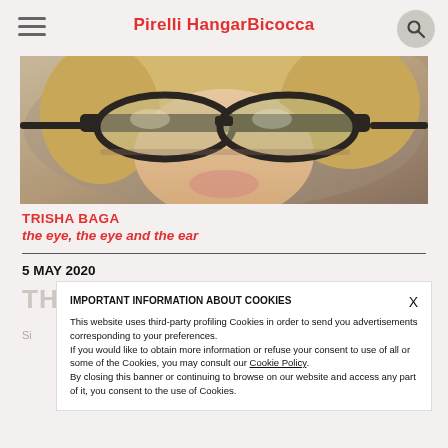Pirelli HangarBicocca
[Figure (photo): Close-up photo of a person wearing large dark-framed glasses, blonde hair visible, seen from below/front angle]
TRISHA BAGA
the eye, the eye and the ear
5 MAY 2020
THERE'S NOWHERE IN TRISHA...
IMPORTANT INFORMATION ABOUT COOKIES
This website uses third-party profiling Cookies in order to send you advertisements corresponding to your preferences.
If you would like to obtain more information or refuse your consent to use of all or some of the Cookies, you may consult our Cookie Policy.
By closing this banner or continuing to browse on our website and access any part of it, you consent to the use of Cookies.